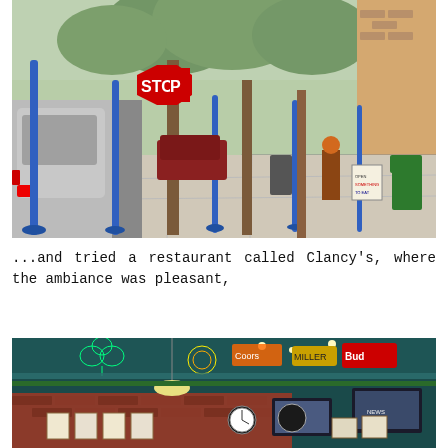[Figure (photo): Street scene showing a sidewalk with blue poles, trees, parked cars, a red stop sign, and a 'TAS BREWING CO' sign on a brick building in the background.]
...and tried a restaurant called Clancy's, where the ambiance was pleasant,
[Figure (photo): Interior of Clancy's restaurant/bar showing neon signs including a shamrock, Budweiser, and other beer signs on a dark teal ceiling, brick walls, televisions, and various bar decorations.]